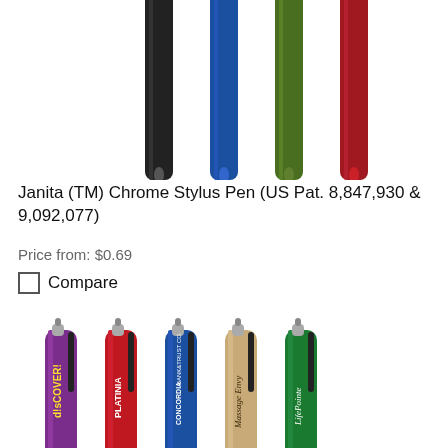[Figure (photo): Four stylus pens (black, blue, green/olive, red) shown vertically from above, partially cropped at the top of the page.]
Janita (TM) Chrome Stylus Pen (US Pat. 8,847,930 & 9,092,077)
Price from: $0.69
Compare
[Figure (photo): Five stylus pens displayed vertically: purple with 'd!sCOVER!' imprint, red with 'PLATINIA' imprint, blue with 'CONCORDIA BANK & TRUST CO.' imprint, gold/tan with 'Massage Envy' imprint, and green with 'LifePointe' imprint. Each has a stylus tip at the top and a clip.]